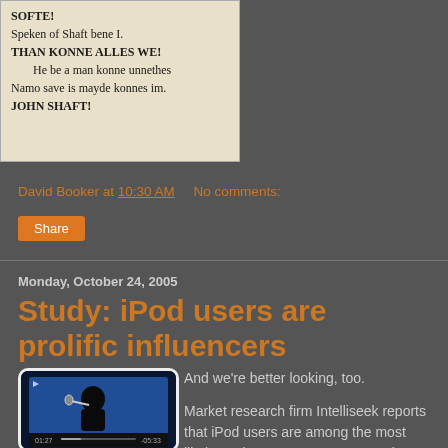[Figure (illustration): Beige-background text box showing medieval/old English poem text: 'SOFTE! Speken of Shaft bene I. THAN KONNE ALLES WE! He be a man konne unnethes Namo save is mayde konnes im. JOHN SHAFT!']
David Booker at 10:30 AM   No comments:
Share
Monday, October 24, 2005
Study: iPod users are prolific influencers
[Figure (photo): iPod device showing a video of a silhouetted person at a microphone against a blue background, with playback controls at the bottom]
And we're better looking, too.

Market research firm Intelliseek reports that iPod users are among the most likely on the Internet to create and spread consumer-